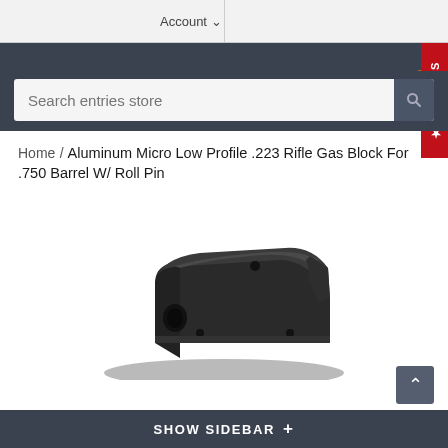Account
[Figure (screenshot): Westlake Tactical website header with logo, hamburger menu, cart icon with 0 badge, search bar, and reviews tab]
Home / Aluminum Micro Low Profile .223 Rifle Gas Block For .750 Barrel W/ Roll Pin
[Figure (photo): Black aluminum micro low profile gas block for .223 rifle, matte black finish, shown at an angle revealing the roll pin port and gas port holes]
SHOW SIDEBAR +